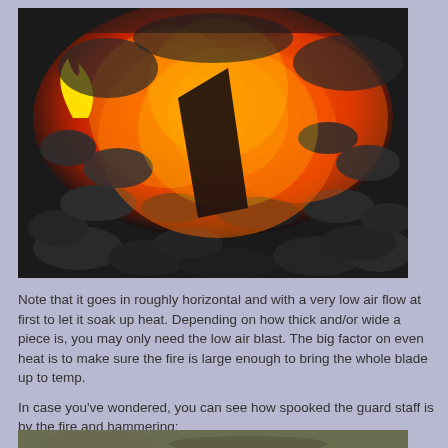[Figure (photo): Close-up photograph of burning coals and fire in a forge or fire pit, showing glowing orange-red embers, dark charcoal chunks, and a yellow flame on the left side]
Note that it goes in roughly horizontal and with a very low air flow at first to let it soak up heat. Depending on how thick and/or wide a piece is, you may only need the low air blast. The big factor on even heat is to make sure the fire is large enough to bring the whole blade up to temp.
In case you've wondered, you can see how spooked the guard staff is by the fire and hammering:
[Figure (photo): Partially visible photograph at the bottom of the page showing the beginning of another scene related to guard staff]